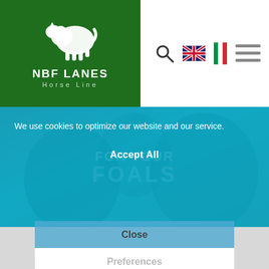[Figure (logo): NBF Lanes Horse Line logo — white horse silhouette on dark green background with text NBF LANES and Horse Line]
[Figure (screenshot): Website navigation bar with search icon, UK flag, Italian flag, and hamburger menu]
[Figure (photo): Background photo of horses with teal/blue overlay, with text FOR YOUR FOALS visible]
We use cookies to optimize our website and our service.
Accept All
Close
Preferences